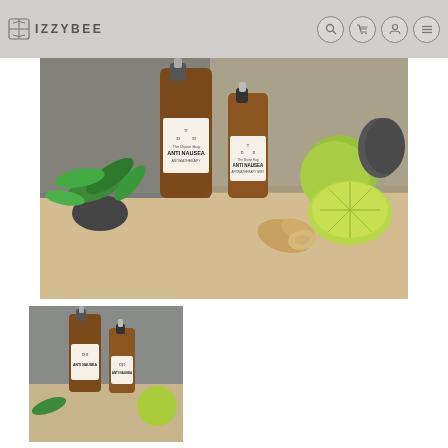IZZYBEE
[Figure (photo): Two amber spray bottles of 'The Divine Hug Anti Nausea Aromatherapy Mist' surrounded by fresh mint leaves, lime slices, ginger root, a small shell, and dark stones on a wooden surface.]
[Figure (photo): Smaller thumbnail image of the same two amber spray bottles product shot.]